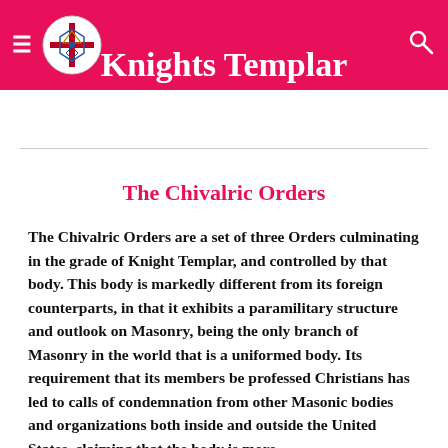Knights Templar
The Chivalric Orders
The Chivalric Orders are a set of three Orders culminating in the grade of Knight Templar, and controlled by that body. This body is markedly different from its foreign counterparts, in that it exhibits a paramilitary structure and outlook on Masonry, being the only branch of Masonry in the world that is a uniformed body. Its requirement that its members be professed Christians has led to calls of condemnation from other Masonic bodies and organizations both inside and outside the United States, claiming that the body is more